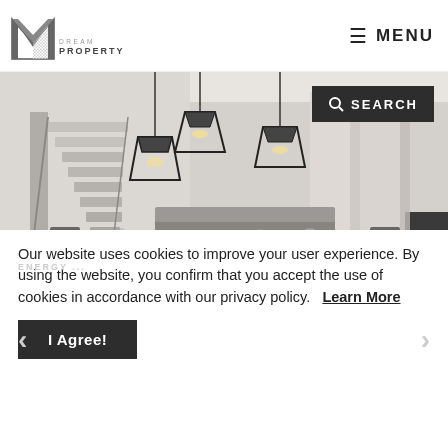[Figure (logo): M Dream Property logo — stylized M shape in grey/black on white background with 'DREAM PROPERTY' text below]
≡ MENU
[Figure (photo): Interior photo of a modern living/dining room with hanging industrial pendant lights, staircase, sofa, dining table set with glasses and dishes, and curtained windows]
🔍 SEARCH
[Figure (illustration): Orange house icon silhouette partially visible at bottom left of the hero image]
Our website uses cookies to improve your user experience. By using the website, you confirm that you accept the use of cookies in accordance with our privacy policy.   Learn More
I Agree!
✉ ENQUIRE   🖨 PRINT   📍 LOCATION